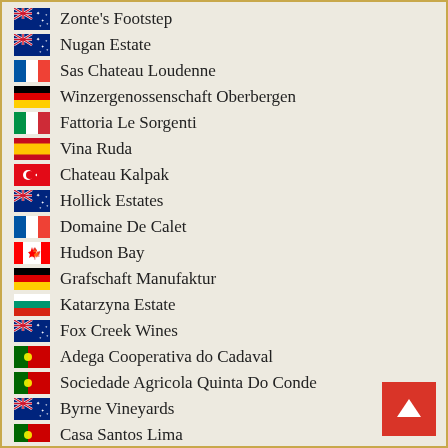Zonte's Footstep
Nugan Estate
Sas Chateau Loudenne
Winzergenossenschaft Oberbergen
Fattoria Le Sorgenti
Vina Ruda
Chateau Kalpak
Hollick Estates
Domaine De Calet
Hudson Bay
Grafschaft Manufaktur
Katarzyna Estate
Fox Creek Wines
Adega Cooperativa do Cadaval
Sociedade Agricola Quinta Do Conde
Byrne Vineyards
Casa Santos Lima
Vineonline
Castello Monte Vibiano
Yoshino Spirits